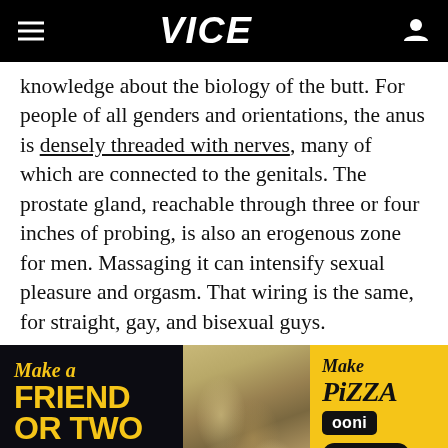VICE
knowledge about the biology of the butt. For people of all genders and orientations, the anus is densely threaded with nerves, many of which are connected to the genitals. The prostate gland, reachable through three or four inches of probing, is also an erogenous zone for men. Massaging it can intensify sexual pleasure and orgasm. That wiring is the same, for straight, gay, and bisexual guys.
[Figure (photo): Advertisement banner: Make a Friend or Two (left, yellow text on black), photo of people and dogs at a picnic with pizza (center), Make Pizza / ooni / Shop Now (right, on yellow background)]